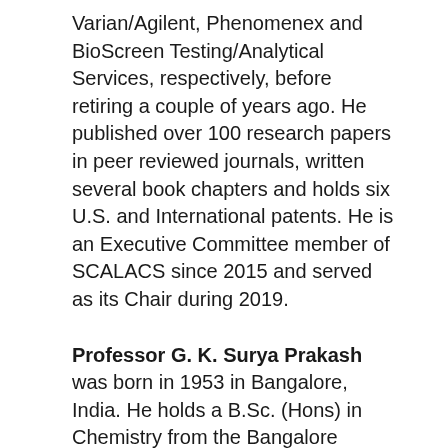Varian/Agilent, Phenomenex and BioScreen Testing/Analytical Services, respectively, before retiring a couple of years ago. He published over 100 research papers in peer reviewed journals, written several book chapters and holds six U.S. and International patents. He is an Executive Committee member of SCALACS since 2015 and served as its Chair during 2019.
Professor G. K. Surya Prakash was born in 1953 in Bangalore, India. He holds a B.Sc. (Hons) in Chemistry from the Bangalore University and a M.Sc. from the Indian Institute of Technology (IIT), Madras. He obtained his Ph. D. in chemistry under the tutelage of late Professor Olah (1994 Nobel Laureate in Chemistry) at the University of Southern California (USC) in 1978. He joined USC faculty in 1981 and is currently a Professor and